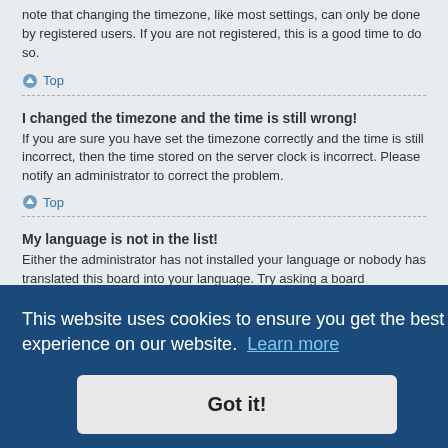note that changing the timezone, like most settings, can only be done by registered users. If you are not registered, this is a good time to do so.
Top
I changed the timezone and the time is still wrong!
If you are sure you have set the timezone correctly and the time is still incorrect, then the time stored on the server clock is incorrect. Please notify an administrator to correct the problem.
Top
My language is not in the list!
Either the administrator has not installed your language or nobody has translated this board into your language. Try asking a board administrator if they can install the language pack you need. If the language pack does not exist, feel
phpBB®
[Figure (other): Cookie consent banner overlay: 'This website uses cookies to ensure you get the best experience on our website. Learn more' with a 'Got it!' button]
viewing ally in the form of stars, blocks or dots, indicating how many posts you have made or your status on the board. Another, usually larger, image is known as an avatar and is